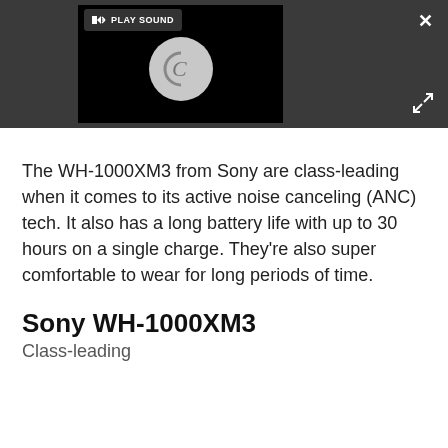[Figure (screenshot): Video player with dark background showing a loading spinner (circular C shape) and a 'PLAY SOUND' button with speaker icon in the top-left corner. An X close button and expand arrows icon are in the top-right corner of the dark bar.]
The WH-1000XM3 from Sony are class-leading when it comes to its active noise canceling (ANC) tech. It also has a long battery life with up to 30 hours on a single charge. They're also super comfortable to wear for long periods of time.
Sony WH-1000XM3
Class-leading